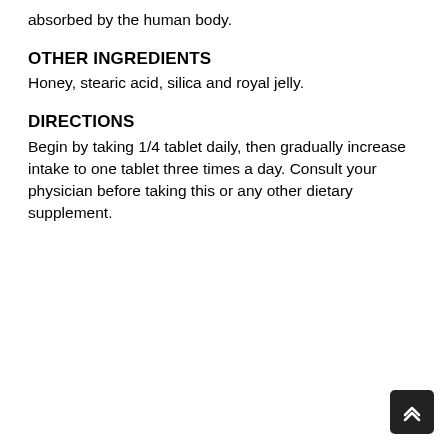absorbed by the human body.
OTHER INGREDIENTS
Honey, stearic acid, silica and royal jelly.
DIRECTIONS
Begin by taking 1/4 tablet daily, then gradually increase intake to one tablet three times a day. Consult your physician before taking this or any other dietary supplement.